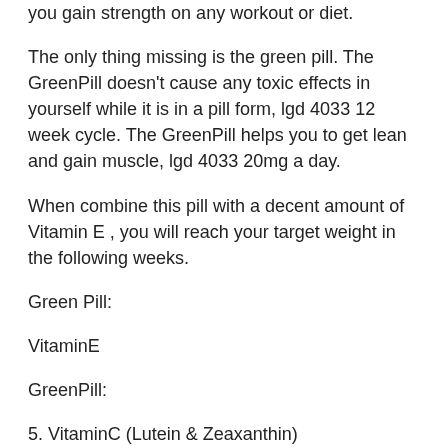you gain strength on any workout or diet.
The only thing missing is the green pill. The GreenPill doesn't cause any toxic effects in yourself while it is in a pill form, lgd 4033 12 week cycle. The GreenPill helps you to get lean and gain muscle, lgd 4033 20mg a day.
When combine this pill with a decent amount of Vitamin E , you will reach your target weight in the following weeks.
Green Pill:
VitaminE
GreenPill:
5. VitaminC (Lutein & Zeaxanthin)
With this combination, your green pill is